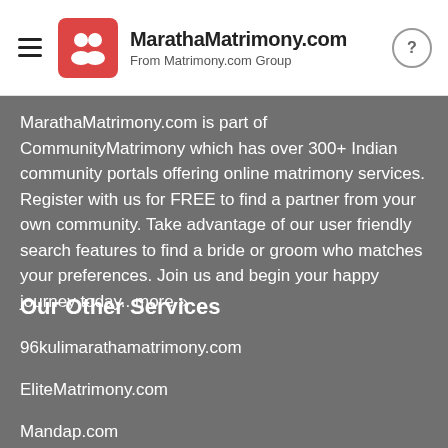MarathaMatrimony.com From Matrimony.com Group
MarathaMatrimony.com is part of CommunityMatrimony which has over 300+ Indian community portals offering online matrimony services. Register with us for FREE to find a partner from your own community. Take advantage of our user friendly search features to find a bride or groom who matches your preferences. Join us and begin your happy journey today.. more »
Our Other Services
96kulimarathamatrimony.com
EliteMatrimony.com
Mandap.com
WeddingBazaar.com